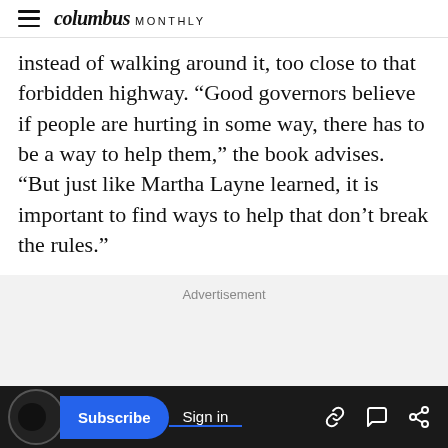columbus MONTHLY
instead of walking around it, too close to that forbidden highway. “Good governors believe if people are hurting in some way, there has to be a way to help them,” the book advises. “But just like Martha Layne learned, it is important to find ways to help that don’t break the rules.”
Advertisement
[Figure (other): Advertisement space placeholder (gray background)]
Subscribe | Sign in | [link icon] [comment icon] [share icon]